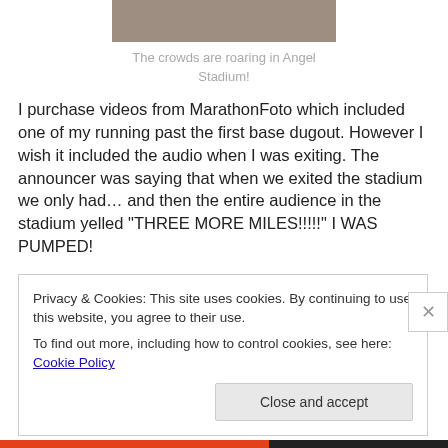[Figure (photo): Partial photo of Angel Stadium crowd/field, cropped at top]
The crowds are roaring in Angel Stadium!
I purchase videos from MarathonFoto which included one of my running past the first base dugout. However I wish it included the audio when I was exiting. The announcer was saying that when we exited the stadium we only had… and then the entire audience in the stadium yelled "THREE MORE MILES!!!!!" I WAS PUMPED!
Privacy & Cookies: This site uses cookies. By continuing to use this website, you agree to their use.
To find out more, including how to control cookies, see here: Cookie Policy